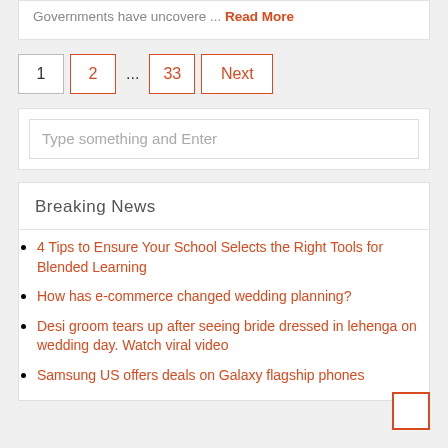Governments have uncovere ... Read More
1  2  ...  33  Next
Type something and Enter
Breaking News
4 Tips to Ensure Your School Selects the Right Tools for Blended Learning
How has e-commerce changed wedding planning?
Desi groom tears up after seeing bride dressed in lehenga on wedding day. Watch viral video
Samsung US offers deals on Galaxy flagship phones